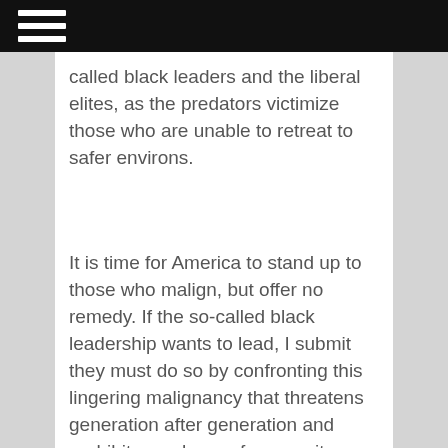called black leaders and the liberal elites, as the predators victimize those who are unable to retreat to safer environs.
It is time for America to stand up to those who malign, but offer no remedy. If the so-called black leadership wants to lead, I submit they must do so by confronting this lingering malignancy that threatens generation after generation and prohibits any hope of prosperity. White guilt and taxpayer dollars are